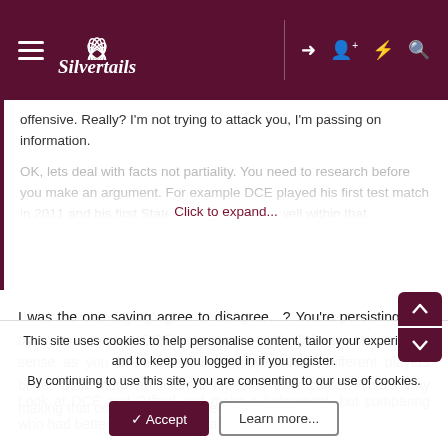Silvertails
offensive. Really? I'm not trying to attack you, I'm passing on information.
OK, lets deal with facts not partiality. You need to research before you make an argument. For example DCE played his first test match in 2011 and his first State of Origin in 2012 well within that... Click to expand...
I was the one saying agree to disagree...? You're persisting with trying to compare DCEs rep career with Orfords. Makes zero sense as you pointed out, both players have different players better than them at different times in their career. That's why making that comparison is flawed.
Look at DCE and Orford and make a judgement, but comparing who had better players in the halfback position at
This site uses cookies to help personalise content, tailor your experience and to keep you logged in if you register.
By continuing to use this site, you are consenting to our use of cookies.